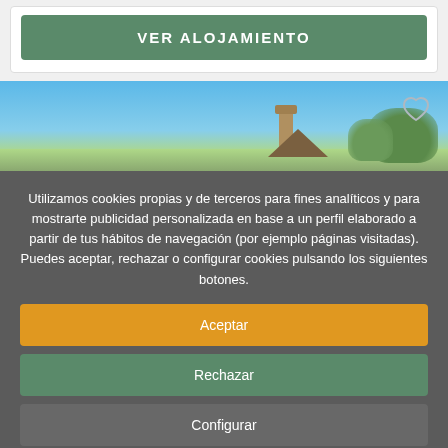VER ALOJAMIENTO
[Figure (photo): Outdoor photo with blue sky and a building chimney with trees in the background]
Utilizamos cookies propias y de terceros para fines analíticos y para mostrarte publicidad personalizada en base a un perfil elaborado a partir de tus hábitos de navegación (por ejemplo páginas visitadas). Puedes aceptar, rechazar o configurar cookies pulsando los siguientes botones.
Aceptar
Rechazar
Configurar
Mas informacion